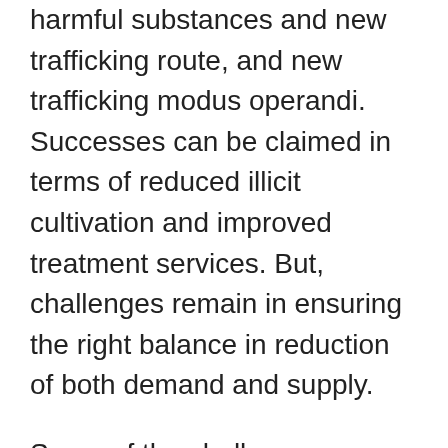harmful substances and new trafficking route, and new trafficking modus operandi. Successes can be claimed in terms of reduced illicit cultivation and improved treatment services. But, challenges remain in ensuring the right balance in reduction of both demand and supply.
Some of the challenges include NPS which are emerging at an alarming rate. Traffickers also continue to try and circumvent interdiction by identifying new routes and exploiting corrupt security forces. East and Western Africa have suffered over the last decade.
In the past few years, drug trafficking has triggered a new surge of violence in West